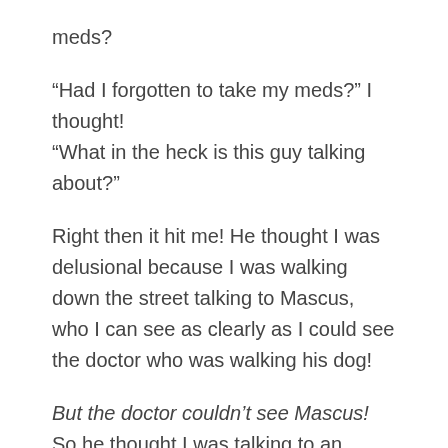meds?
“Had I forgotten to take my meds?” I thought! “What in the heck is this guy talking about?”
Right then it hit me! He thought I was delusional because I was walking down the street talking to Mascus, who I can see as clearly as I could see the doctor who was walking his dog!
But the doctor couldn’t see Mascus! So he thought I was talking to an imaginary friend.